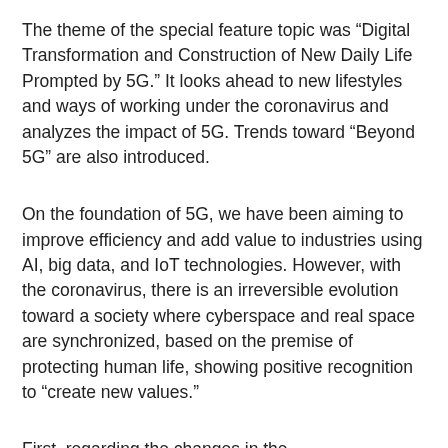The theme of the special feature topic was “Digital Transformation and Construction of New Daily Life Prompted by 5G.” It looks ahead to new lifestyles and ways of working under the coronavirus and analyzes the impact of 5G. Trends toward "Beyond 5G" are also introduced.
On the foundation of 5G, we have been aiming to improve efficiency and add value to industries using AI, big data, and IoT technologies. However, with the coronavirus, there is an irreversible evolution toward a society where cyberspace and real space are synchronized, based on the premise of protecting human life, showing positive recognition to "create new values."
First, regarding the changes in the telecommunications market, it is pointed out that the presence of Japanese companies in the cell phone handset/smartphone market is decreasing. I've long wondered about the policy goal of